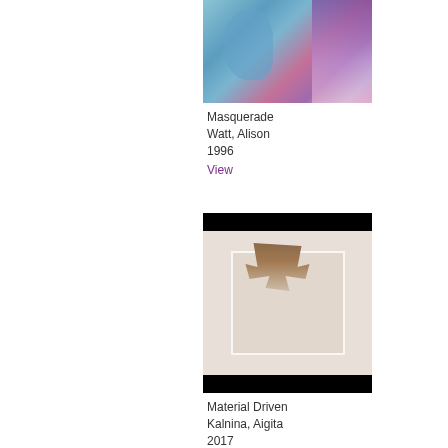[Figure (photo): Painting titled Masquerade by Alison Watt, 1996. Colorful figurative painting with blues, purples and pinks.]
Masquerade
Watt, Alison
1996
View
[Figure (photo): Sculpture titled Material Driven by Aigita Kalnina, 2017. A box-like sculptural installation with organic materials hanging inside, mounted on a white wall. Black borders at top and bottom.]
Material Driven
Kalnina, Aigita
2017
View